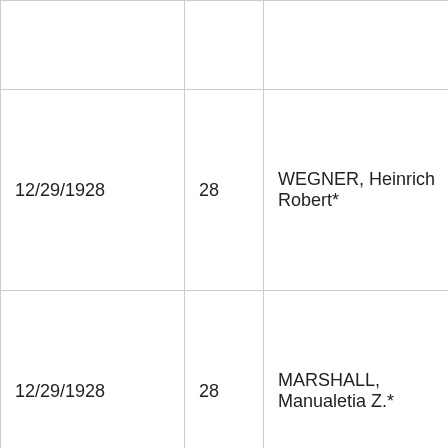|  |  |  |  |
| 12/29/1928 | 28 | WEGNER, Heinrich Robert* | 50 |
| 12/29/1928 | 28 | MARSHALL, Manualetia Z.* | 71 |
| 12/29/1928 | 28 | MARSHALL, Andrew |  |
| 12/29/1928 | 28 | HUNSBERGER, | 17 |